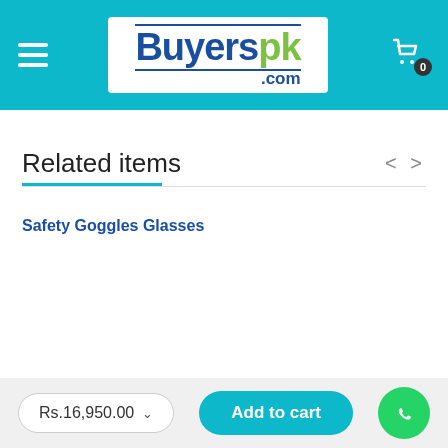[Figure (logo): Buyerspk.com logo with blue 'Buyers' text, green 'pk' text, and '.com' subtitle on white background, inside a teal header bar with hamburger menu and cart icon]
Related items
Safety Goggles Glasses
Rs.16,950.00
Add to cart